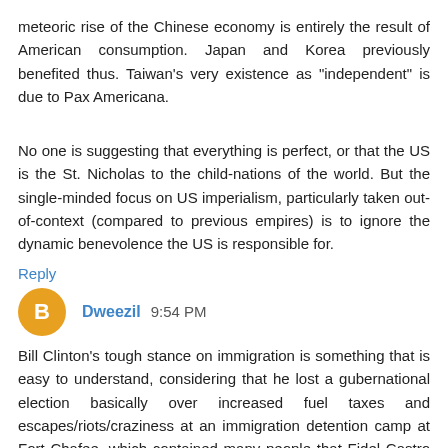meteoric rise of the Chinese economy is entirely the result of American consumption. Japan and Korea previously benefited thus. Taiwan's very existence as "independent" is due to Pax Americana.
No one is suggesting that everything is perfect, or that the US is the St. Nicholas to the child-nations of the world. But the single-minded focus on US imperialism, particularly taken out-of-context (compared to previous empires) is to ignore the dynamic benevolence the US is responsible for.
Reply
Dweezil 9:54 PM
Bill Clinton's tough stance on immigration is something that is easy to understand, considering that he lost a gubernational election basically over increased fuel taxes and escapes/riots/craziness at an immigration detention camp at Fort Chafee, which contained many people that Fidel Castro no longer wanted in his country, some of whom had formerly resided in prisons and mental